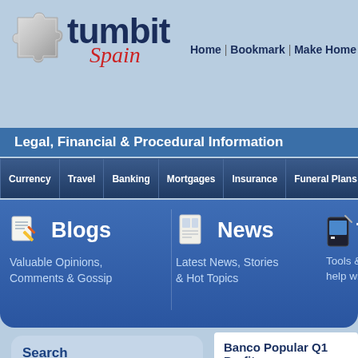[Figure (screenshot): Tumbit Spain website header with puzzle piece logo, site title 'tumbit Spain' and navigation links 'Home | Bookmark | Make Home']
tumbit Spain
Home | Bookmark | Make Home
Legal, Financial & Procedural Information
Currency | Travel | Banking | Mortgages | Insurance | Funeral Plans
Blogs – Valuable Opinions, Comments & Gossip
News – Latest News, Stories & Hot Topics
Tools & Widgets to help with financial...
Search
Enter your search here...
Banco Popular Q1 Profits
[Figure (logo): GRUPO logo on red background]